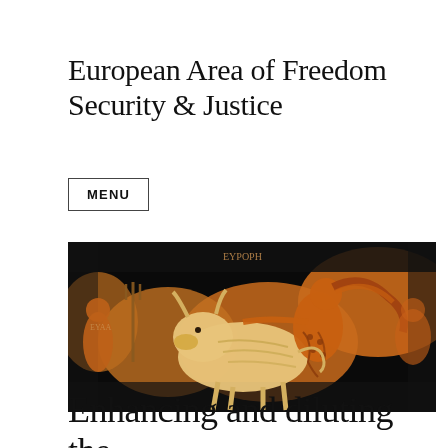European Area of Freedom Security & Justice
MENU
[Figure (photo): Ancient Greek red-figure vase painting depicting a figure riding a bull, with other figures and Greek inscriptions including 'EYAA' and 'EYPOPH' visible against a black background.]
Enhancing and diluting the